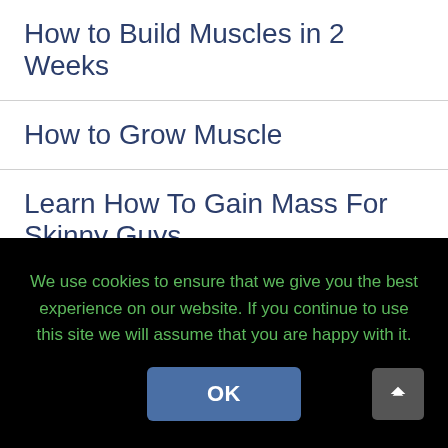How to Build Muscles in 2 Weeks
How to Grow Muscle
Learn How To Gain Mass For Skinny Guys
The Secret How to Build Big Lats
We use cookies to ensure that we give you the best experience on our website. If you continue to use this site we will assume that you are happy with it.
OK